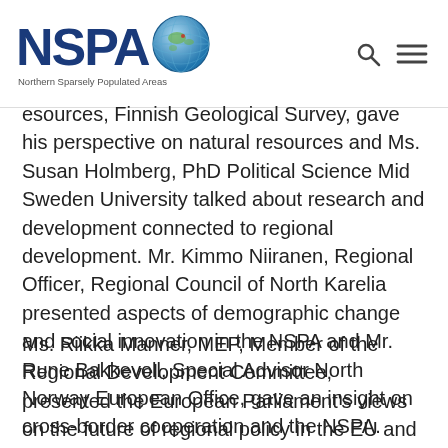NSPA Northern Sparsely Populated Areas
esources, Finnish Geological Survey, gave his perspective on natural resources and Ms. Susan Holmberg, PhD Political Science Mid Sweden University talked about research and development connected to regional development. Mr. Kimmo Niiranen, Regional Officer, Regional Council of North Karelia presented aspects of demographic change and social innovation in the NSPA and Mr. Rune Bakkevoll, Special Advisor North Norway European Office, gave an insight on cross-border cooperation and the NSPA.
Ms. Riikka Manner, MEP, Member of the Regional Development Committee, presented the European Parliament's views on the future of regional policy in the EU and invited the NSPA to give comments about the upcoming legislative